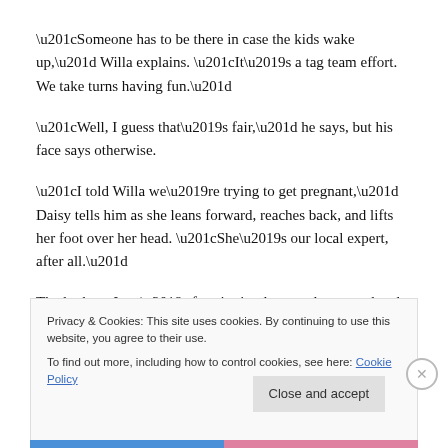“Someone has to be there in case the kids wake up,” Willa explains. “It’s a tag team effort. We take turns having fun.”
“Well, I guess that’s fair,” he says, but his face says otherwise.
“I told Willa we’re trying to get pregnant,” Daisy tells him as she leans forward, reaches back, and lifts her foot over her head. “She’s our local expert, after all.”
The look on Jono’s face is simultaneously amused and
Privacy & Cookies: This site uses cookies. By continuing to use this website, you agree to their use.
To find out more, including how to control cookies, see here: Cookie Policy